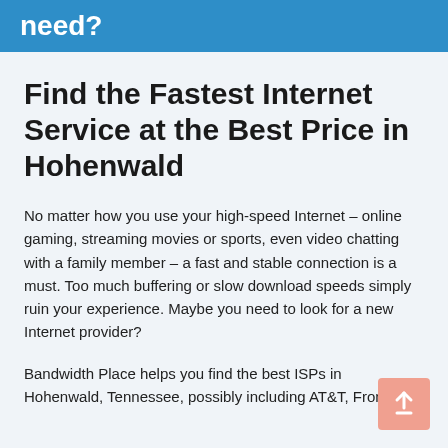need?
Find the Fastest Internet Service at the Best Price in Hohenwald
No matter how you use your high-speed Internet – online gaming, streaming movies or sports, even video chatting with a family member – a fast and stable connection is a must. Too much buffering or slow download speeds simply ruin your experience. Maybe you need to look for a new Internet provider?
Bandwidth Place helps you find the best ISPs in Hohenwald, Tennessee, possibly including AT&T, Frontier,